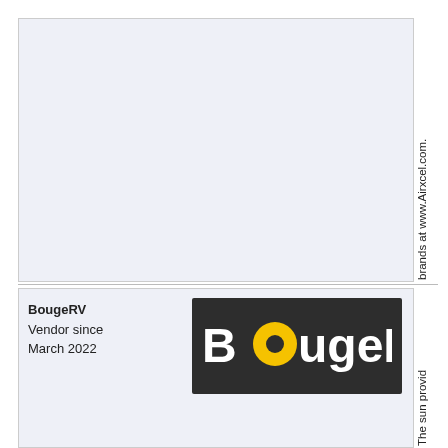brands at www.Airxcel.com.
BougeRV
Vendor since March 2022
[Figure (logo): BougeRV logo — white bold text on dark background with yellow circular 'O']
The sun provid